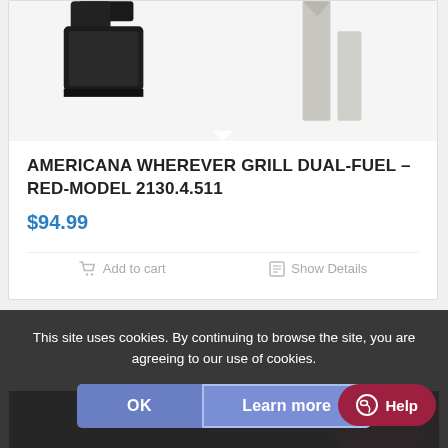[Figure (photo): Product image of Americana Wherever Grill Dual-Fuel in Red, showing partial view of the grill with black cord and metal legs against a white background]
AMERICANA WHEREVER GRILL DUAL-FUEL – RED-MODEL 2130.4.511
$94.99
Add to cart
Show Details
[Figure (photo): Partial view of a second product with dark/black grill device visible at bottom of page]
This site uses cookies. By continuing to browse the site, you are agreeing to our use of cookies.
OK
Learn more
Help